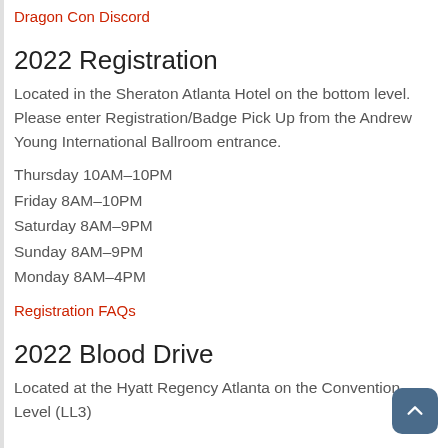Dragon Con Discord
2022 Registration
Located in the Sheraton Atlanta Hotel on the bottom level. Please enter Registration/Badge Pick Up from the Andrew Young International Ballroom entrance.
Thursday 10AM–10PM
Friday 8AM–10PM
Saturday 8AM–9PM
Sunday 8AM–9PM
Monday 8AM–4PM
Registration FAQs
2022 Blood Drive
Located at the Hyatt Regency Atlanta on the Convention Level (LL3)